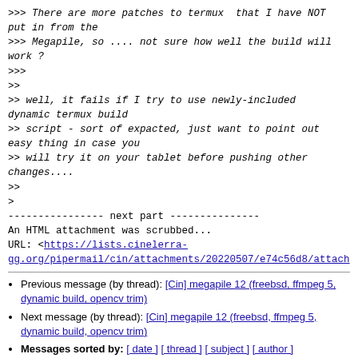>>> There are more patches to termux  that I have NOT put in from the
>>> Megapile, so .... not sure how well the build will work ?
>>>
>>
>> well, it fails if I try to use newly-included dynamic termux build
>> script - sort of expacted, just want to point out easy thing in case you
>> will try it on your tablet before pushing other changes....
>>
>
---------------- next part ---------------
An HTML attachment was scrubbed...
URL: <https://lists.cinelerra-gg.org/pipermail/cin/attachments/20220507/e74c56d8/attach
Previous message (by thread): [Cin] megapile 12 (freebsd, ffmpeg 5, dynamic build, opencv trim)
Next message (by thread): [Cin] megapile 12 (freebsd, ffmpeg 5, dynamic build, opencv trim)
Messages sorted by: [ date ] [ thread ] [ subject ] [ author ]
More information about the Cin mailing list